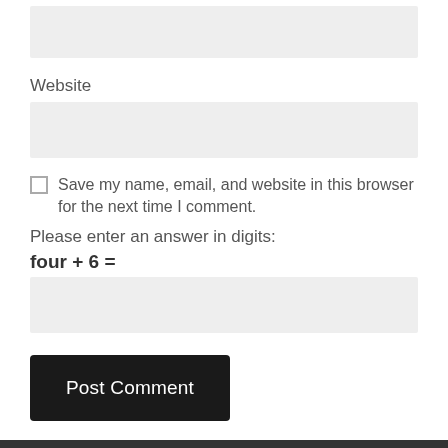[Figure (other): Empty text input field with light gray background]
Website
[Figure (other): Empty website text input field with light gray background]
Save my name, email, and website in this browser for the next time I comment.
Please enter an answer in digits:
four + 6 =
[Figure (other): Empty answer input field with light gray background]
Post Comment